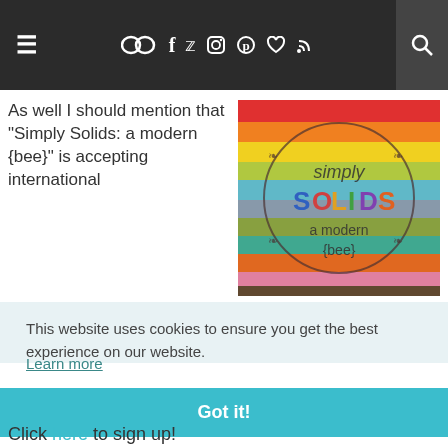≡  [social icons: chat, facebook, twitter, instagram, pinterest, heart, rss]  [search]
[Figure (logo): Simply Solids a modern {bee} logo with colorful stacked fabric strips in rainbow colors]
As well I should mention that "Simply Solids: a modern {bee}" is accepting international
This website uses cookies to ensure you get the best experience on our website.
Learn more
Got it!
Click here to sign up!